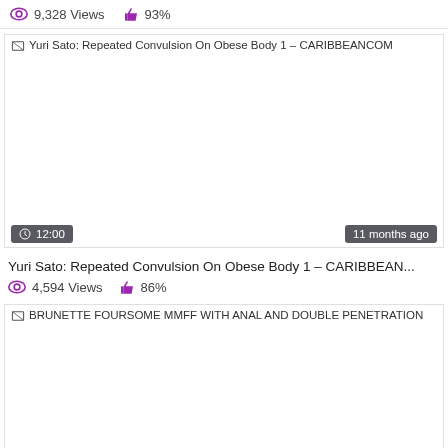9,328 Views   93%
[Figure (screenshot): Video thumbnail placeholder for 'Yuri Sato: Repeated Convulsion On Obese Body 1 – CARIBBEANCOM' with broken image icon and alt text]
12:00   11 months ago
Yuri Sato: Repeated Convulsion On Obese Body 1 – CARIBBEAN...
4,594 Views   86%
[Figure (screenshot): Video thumbnail placeholder for 'BRUNETTE FOURSOME MMFF WITH ANAL AND DOUBLE PENETRATION' with broken image icon and alt text]